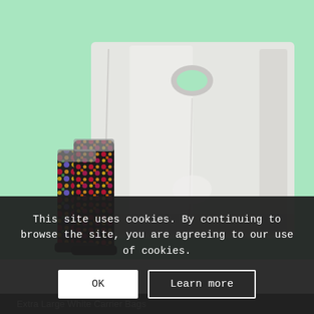[Figure (photo): Product photo of an Extra Large White Carrier Bag against a light mint/green background, with colorful floral-patterned wellington boots to the left side showing scale.]
This site uses cookies. By continuing to browse the site, you are agreeing to our use of cookies.
OK
Learn more
Extra Large White Carrier Bags